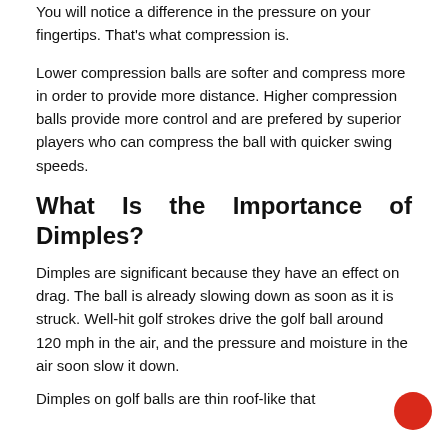You will notice a difference in the pressure on your fingertips. That's what compression is.
Lower compression balls are softer and compress more in order to provide more distance. Higher compression balls provide more control and are prefered by superior players who can compress the ball with quicker swing speeds.
What Is the Importance of Dimples?
Dimples are significant because they have an effect on drag. The ball is already slowing down as soon as it is struck. Well-hit golf strokes drive the golf ball around 120 mph in the air, and the pressure and moisture in the air soon slow it down.
Dimples on golf balls are thin roof-like that...